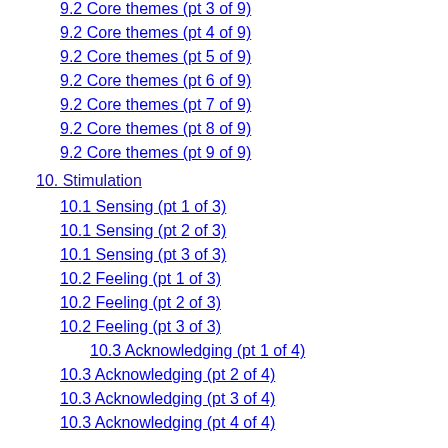9.2 Core themes (pt 3 of 9)
9.2 Core themes (pt 4 of 9)
9.2 Core themes (pt 5 of 9)
9.2 Core themes (pt 6 of 9)
9.2 Core themes (pt 7 of 9)
9.2 Core themes (pt 8 of 9)
9.2 Core themes (pt 9 of 9)
10. Stimulation
10.1 Sensing (pt 1 of 3)
10.1 Sensing (pt 2 of 3)
10.1 Sensing (pt 3 of 3)
10.2 Feeling (pt 1 of 3)
10.2 Feeling (pt 2 of 3)
10.2 Feeling (pt 3 of 3)
10.3 Acknowledging (pt 1 of 4)
10.3 Acknowledging (pt 2 of 4)
10.3 Acknowledging (pt 3 of 4)
10.3 Acknowledging (pt 4 of 4)